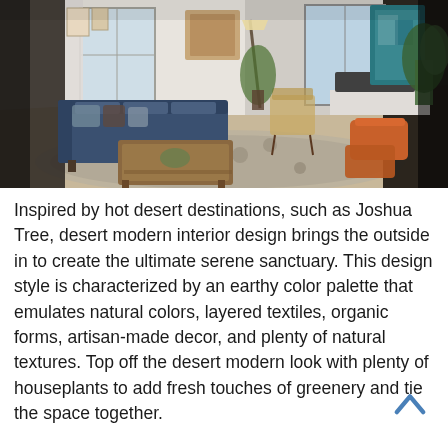[Figure (photo): Interior photo of a desert modern living room with a blue sectional sofa, wood coffee table, patterned area rug, orange leather ottomans, houseplants, and large windows with natural light.]
Inspired by hot desert destinations, such as Joshua Tree, desert modern interior design brings the outside in to create the ultimate serene sanctuary. This design style is characterized by an earthy color palette that emulates natural colors, layered textiles, organic forms, artisan-made decor, and plenty of natural textures. Top off the desert modern look with plenty of houseplants to add fresh touches of greenery and tie the space together.